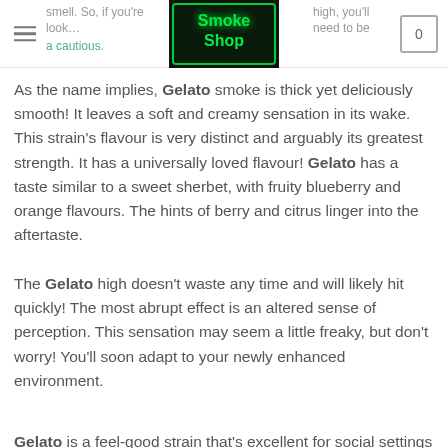smell. So, if you're looking to get high, you'll need to be cautious. [Smoke Shop logo image] 0
As the name implies, Gelato smoke is thick yet deliciously smooth! It leaves a soft and creamy sensation in its wake. This strain's flavour is very distinct and arguably its greatest strength. It has a universally loved flavour! Gelato has a taste similar to a sweet sherbet, with fruity blueberry and orange flavours. The hints of berry and citrus linger into the aftertaste.
The Gelato high doesn't waste any time and will likely hit quickly! The most abrupt effect is an altered sense of perception. This sensation may seem a little freaky, but don't worry! You'll soon adapt to your newly enhanced environment.
Gelato is a feel-good strain that's excellent for social settings